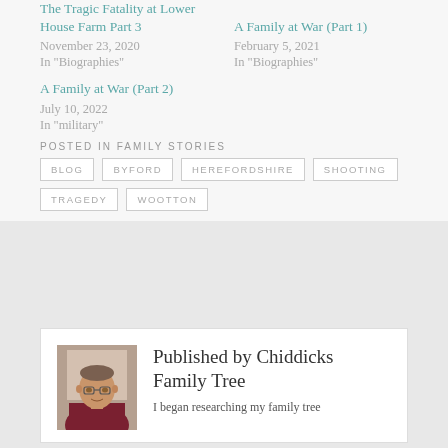The Tragic Fatality at Lower House Farm Part 3
November 23, 2020
In "Biographies"
A Family at War (Part 1)
February 5, 2021
In "Biographies"
A Family at War (Part 2)
July 10, 2022
In "military"
POSTED IN FAMILY STORIES
BLOG   BYFORD   HEREFORDSHIRE   SHOOTING   TRAGEDY   WOOTTON
[Figure (photo): Portrait photo of a man wearing glasses and a dark red shirt, seated indoors]
Published by Chiddicks Family Tree
I began researching my family tree